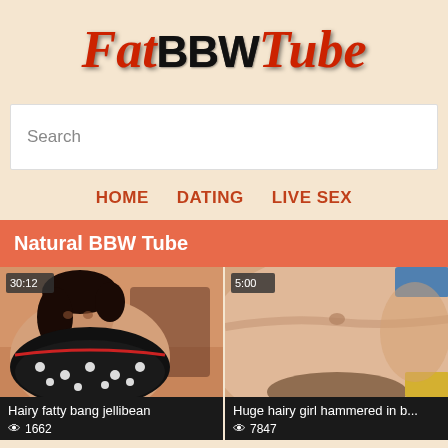[Figure (logo): FatBBWTube logo with stylized red italic script for Fat and Tube, bold black BBW text in center]
Search
HOME   DATING   LIVE SEX
Natural BBW Tube
[Figure (photo): Video thumbnail showing woman with dark hair in polka dot top, duration 30:12]
Hairy fatty bang jellibean
👁 1662
[Figure (photo): Video thumbnail showing close-up skin/body image, duration 5:00]
Huge hairy girl hammered in b...
👁 7847